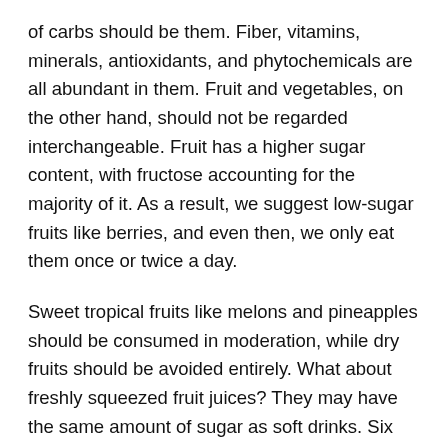of carbs should be them. Fiber, vitamins, minerals, antioxidants, and phytochemicals are all abundant in them. Fruit and vegetables, on the other hand, should not be regarded interchangeable. Fruit has a higher sugar content, with fructose accounting for the majority of it. As a result, we suggest low-sugar fruits like berries, and even then, we only eat them once or twice a day.
Sweet tropical fruits like melons and pineapples should be consumed in moderation, while dry fruits should be avoided entirely. What about freshly squeezed fruit juices? They may have the same amount of sugar as soft drinks. Six oranges have the same amount of sugar as one glass of juice.
Have you ever gorged yourself on six oranges in a single sitting? That's very improbable. Because of the fiber in whole fruits, they are self-limiting, while juice is not. Many fruit